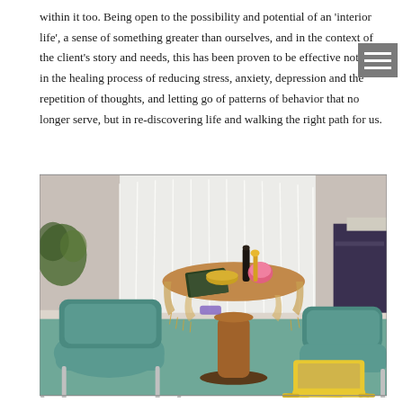within it too. Being open to the possibility and potential of an 'interior life', a sense of something greater than ourselves, and in the context of the client's story and needs, this has been proven to be effective not only in the healing process of reducing stress, anxiety, depression and the repetition of thoughts, and letting go of patterns of behavior that no longer serve, but in re-discovering life and walking the right path for us.
[Figure (photo): A therapy or counselling room interior showing two teal/turquoise chairs with chrome frames, a round wooden pedestal table covered with a decorative cloth and various objects on top (bowls, books, flowers), and a small yellow folding stool on a teal carpet. White venetian blinds on a window in the background let in natural light.]